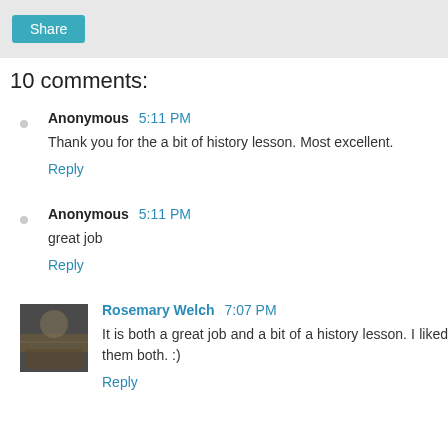[Figure (other): Share button in gray bar at top]
10 comments:
Anonymous 5:11 PM
Thank you for the a bit of history lesson. Most excellent.
Reply
Anonymous 5:11 PM
great job
Reply
Rosemary Welch 7:07 PM
It is both a great job and a bit of a history lesson. I liked them both. :)
Reply